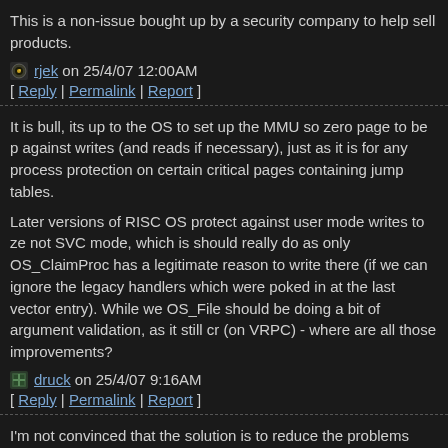This is a non-issue bought up by a security company to help sell products.
rjek on 25/4/07 12:00AM
[ Reply | Permalink | Report ]
It is bull, its up to the OS to set up the MMU so zero page to be p against writes (and reads if necessary), just as it is for any process protection on certain critical pages containing jump tables.

Later versions of RISC OS protect against user mode writes to ze not SVC mode, which is should really do as only OS_ClaimProc has a legitimate reason to write there (if we can ignore the legacy handlers which were poked in at the last vector entry). While we OS_File should be doing a bit of argument validation, as it still cr (on VRPC) - where are all those improvements?
druck on 25/4/07 9:16AM
[ Reply | Permalink | Report ]
I'm not convinced that the solution is to reduce the problems caus dereferencing a null pointer, as opposed to producing tools which programmers detect and fix the null-pointer dereference bugs in t place.